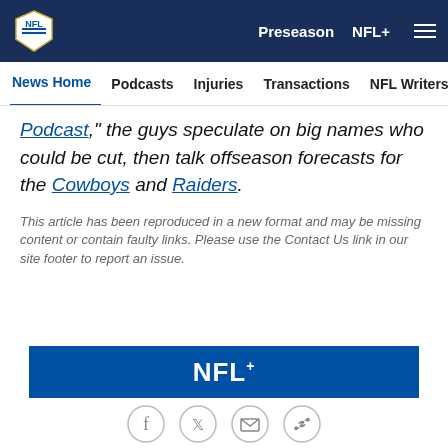NFL Navigation bar: Preseason | NFL+ | Menu
News Home | Podcasts | Injuries | Transactions | NFL Writers | Se...
Podcast, " the guys speculate on big names who could be cut, then talk offseason forecasts for the Cowboys and Raiders.
This article has been reproduced in a new format and may be missing content or contain faulty links. Please use the Contact Us link in our site footer to report an issue.
[Figure (logo): NFL+ blue banner with NFL+ logo in white]
[Figure (infographic): Social share icons: Facebook, Twitter, Email, Link]